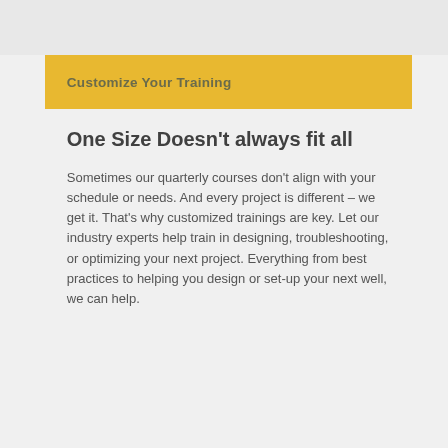Customize Your Training
One Size Doesn't always fit all
Sometimes our quarterly courses don't align with your schedule or needs. And every project is different – we get it. That's why customized trainings are key. Let our industry experts help train in designing, troubleshooting, or optimizing your next project. Everything from best practices to helping you design or set-up your next well, we can help.